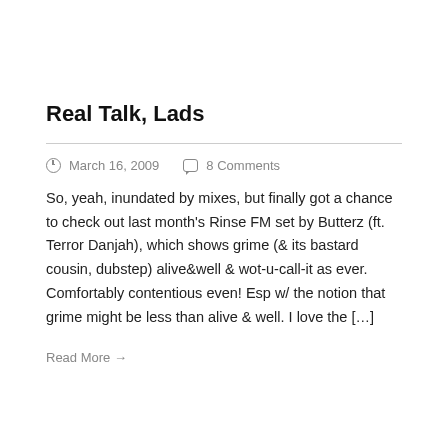Real Talk, Lads
March 16, 2009   8 Comments
So, yeah, inundated by mixes, but finally got a chance to check out last month's Rinse FM set by Butterz (ft. Terror Danjah), which shows grime (& its bastard cousin, dubstep) alive&well & wot-u-call-it as ever. Comfortably contentious even! Esp w/ the notion that grime might be less than alive & well. I love the […]
Read More →